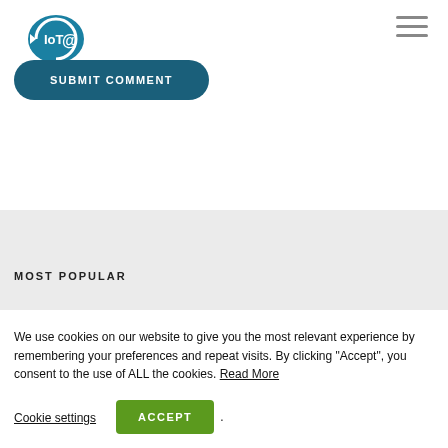[Figure (logo): IoT Analytics logo — blue circular arrow with IoT text inside]
[Figure (other): Hamburger menu icon (three horizontal lines)]
SUBMIT COMMENT
MOST POPULAR
We use cookies on our website to give you the most relevant experience by remembering your preferences and repeat visits. By clicking “Accept”, you consent to the use of ALL the cookies. Read More
Cookie settings
ACCEPT